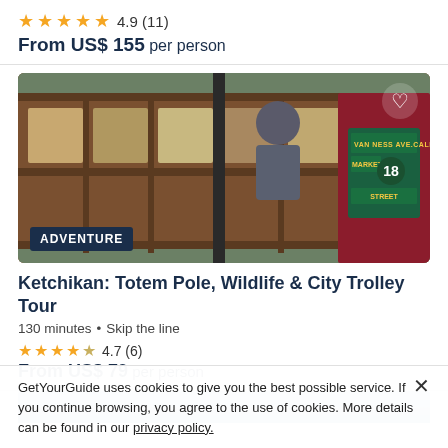4.9 (11)
From US$ 155 per person
[Figure (photo): A vintage wooden trolley car with 'Van Ness Ave. California & Market Street 18' signage, ADVENTURE badge overlay, heart icon top right]
Ketchikan: Totem Pole, Wildlife & City Trolley Tour
130 minutes • Skip the line
4.7 (6)
From US$ 79 per person
[Figure (photo): Partial blue/aerial image visible at bottom]
GetYourGuide uses cookies to give you the best possible service. If you continue browsing, you agree to the use of cookies. More details can be found in our privacy policy.